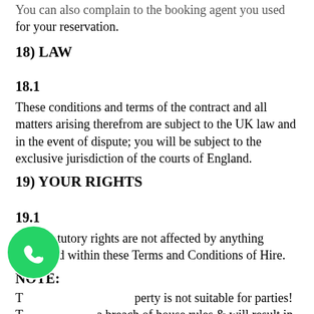You can also complain to the booking agent you used for your reservation.
18) LAW
18.1
These conditions and terms of the contract and all matters arising therefrom are subject to the UK law and in the event of dispute; you will be subject to the exclusive jurisdiction of the courts of England.
19) YOUR RIGHTS
19.1
Your statutory rights are not affected by anything contained within these Terms and Conditions of Hire.
NOTE:
The property is not suitable for parties! This is a breach of house rules & will result in immediate removal from the property and no refund,